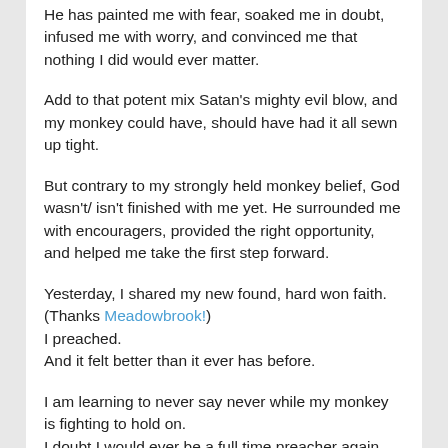He has painted me with fear, soaked me in doubt, infused me with worry, and convinced me that nothing I did would ever matter.
Add to that potent mix Satan's mighty evil blow, and my monkey could have, should have had it all sewn up tight.
But contrary to my strongly held monkey belief, God wasn't/ isn't finished with me yet. He surrounded me with encouragers, provided the right opportunity, and helped me take the first step forward.
Yesterday, I shared my new found, hard won faith.
(Thanks Meadowbrook!)
I preached.
And it felt better than it ever has before.
I am learning to never say never while my monkey is fighting to hold on.
I doubt I would ever be a full time preacher again, and yet, if the right place or people came calling, I would have to